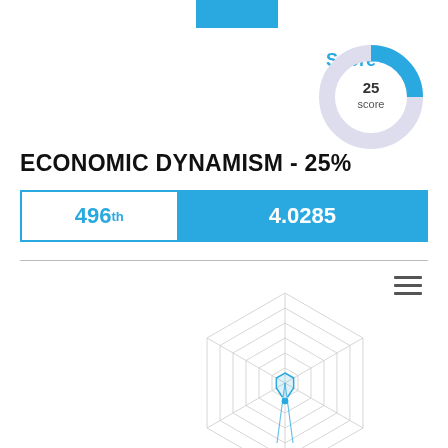[Figure (donut-chart): Donut/semicircle chart showing score of 25% in blue, remainder in light gray]
ECONOMIC DYNAMISM - 25%
| Rank | Score |
| --- | --- |
| 496th | 4.0285 |
[Figure (radar-chart): Radar chart with axes: Local Economy Size, Local Economy Growth, Local Economy Structure, Safety Compliance in Business, Productivity, Presence of Business and Professional Organizations. Data polygon plotted near center-low region.]